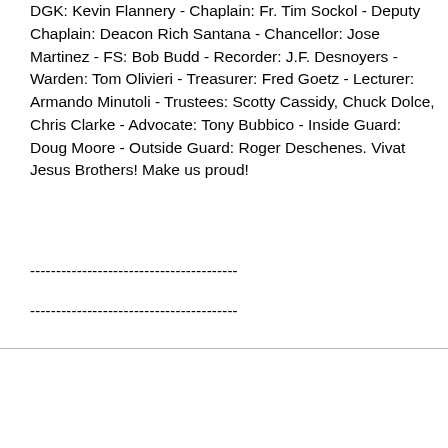DGK: Kevin Flannery - Chaplain: Fr. Tim Sockol - Deputy Chaplain: Deacon Rich Santana - Chancellor: Jose Martinez - FS: Bob Budd - Recorder: J.F. Desnoyers - Warden: Tom Olivieri - Treasurer: Fred Goetz - Lecturer: Armando Minutoli - Trustees: Scotty Cassidy, Chuck Dolce, Chris Clarke - Advocate: Tony Bubbico - Inside Guard: Doug Moore - Outside Guard: Roger Deschenes. Vivat Jesus Brothers! Make us proud!
----------------------------------------
----------------------------------------